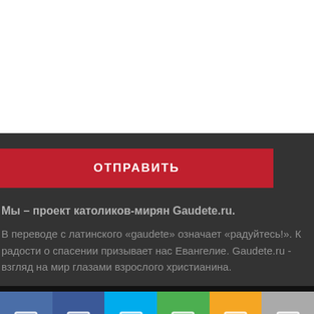[Figure (screenshot): White area at top of page, likely containing a form or input field above the submit button]
ОТПРАВИТЬ
Мы – проект католиков-мирян Gaudete.ru.
В переводе с латинского «gaudete» означает «радуйтесь!». К радости о спасении призывает нас Евангелие. Gaudete.ru - взгляд на мир глазами взрослого христианина.
[Figure (infographic): Social media sharing bar with six colored blocks: two Facebook blues, cyan (Twitter), green (Google+), orange, and gray, each containing a white rectangle icon]